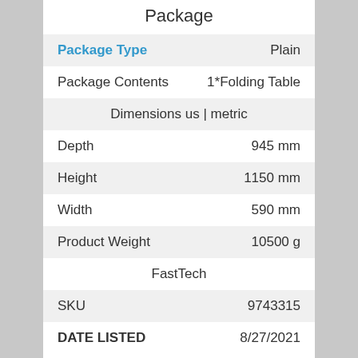Package
| Package Type | Plain |
| Package Contents | 1*Folding Table |
| Dimensions us | metric |  |
| Depth | 945 mm |
| Height | 1150 mm |
| Width | 590 mm |
| Product Weight | 10500 g |
| FastTech |  |
| SKU | 9743315 |
| DATE LISTED | 8/27/2021 |